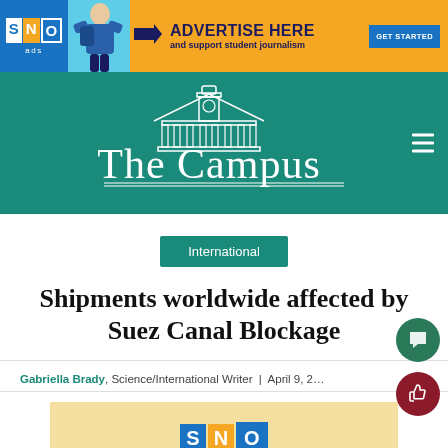[Figure (infographic): SNO ads advertisement banner with orange background, girl with backpack, bold text 'ADVERTISE HERE and support student journalism' and blue GET STARTED button]
[Figure (logo): The Campus newspaper masthead logo on teal/green background with building/tower illustration]
International
Shipments worldwide affected by Suez Canal Blockage
Gabriella Brady, Science/International Writer | April 9, 2021
[Figure (photo): SNO ads placeholder image with light yellow/tan background showing SNO logo and partial photo at bottom]